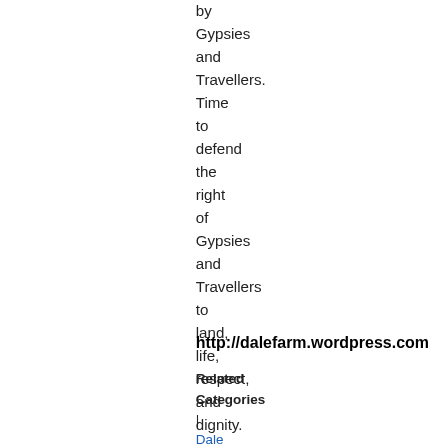by Gypsies and Travellers. Time to defend the right of Gypsies and Travellers to land, life, respect, and dignity.
http://dalefarm.wordpress.com
Related Categories | Dale Farm | Anti-racism